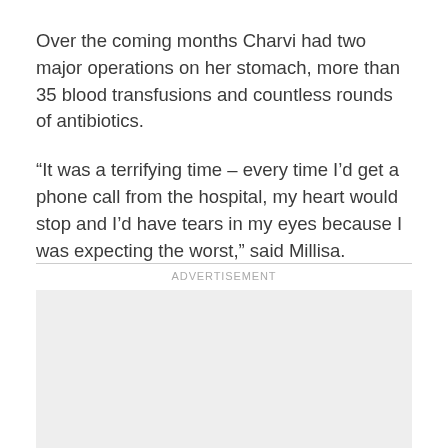Over the coming months Charvi had two major operations on her stomach, more than 35 blood transfusions and countless rounds of antibiotics.
“It was a terrifying time – every time I’d get a phone call from the hospital, my heart would stop and I’d have tears in my eyes because I was expecting the worst,” said Millisa.
ADVERTISEMENT